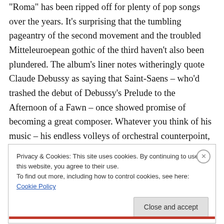"Roma" has been ripped off for plenty of pop songs over the years. It's surprising that the tumbling pageantry of the second movement and the troubled Mitteleuroepean gothic of the third haven't also been plundered. The album's liner notes witheringly quote Claude Debussy as saying that Saint-Saens – who'd trashed the debut of Debussy's Prelude to the Afternoon of a Fawn – once showed promise of becoming a great composer. Whatever you think of his music – his endless volleys of orchestral counterpoint, his grandiose, Lisztian piano concertos, his irresistible Organ Symphony and perhaps shockingly
Privacy & Cookies: This site uses cookies. By continuing to use this website, you agree to their use.
To find out more, including how to control cookies, see here: Cookie Policy
Close and accept